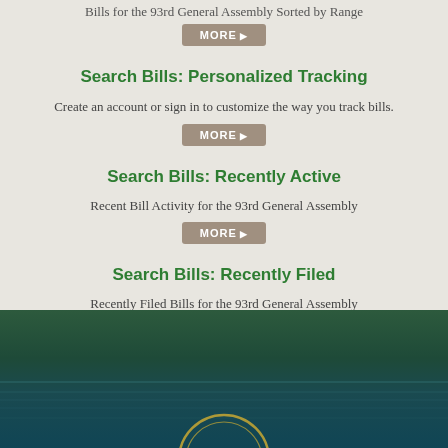Bills for the 93rd General Assembly Sorted by Range
MORE
Search Bills: Personalized Tracking
Create an account or sign in to customize the way you track bills.
MORE
Search Bills: Recently Active
Recent Bill Activity for the 93rd General Assembly
MORE
Search Bills: Recently Filed
Recently Filed Bills for the 93rd General Assembly
MORE
[Figure (illustration): Dark green gradient footer background with teal horizontal lines and partial circular government seal at bottom center]